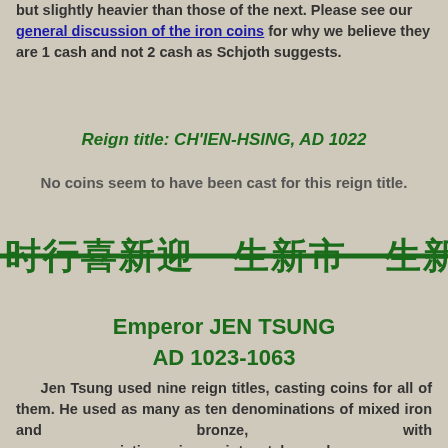but slightly heavier than those of the next. Please see our general discussion of the iron coins for why we believe they are 1 cash and not 2 cash as Schjoth suggests.
Reign title: CH'IEN-HSING, AD 1022
No coins seem to have been cast for this reign title.
[Figure (illustration): Decorative horizontal band with Chinese characters on a green horizontal line background]
Emperor JEN TSUNG
AD 1023-1063
Jen Tsung used nine reign titles, casting coins for all of them. He used as many as ten denominations of mixed iron and bronze, with numerous variations in script, style and